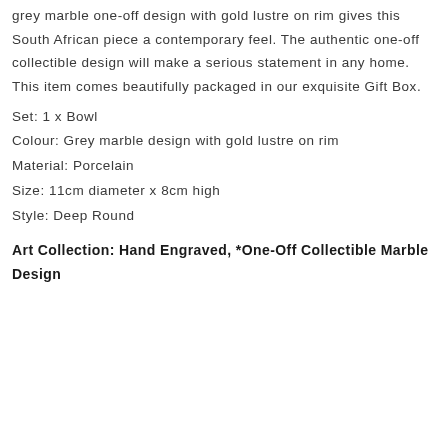grey marble one-off design with gold lustre on rim gives this South African piece a contemporary feel. The authentic one-off collectible design will make a serious statement in any home. This item comes beautifully packaged in our exquisite Gift Box.
Set: 1 x Bowl
Colour: Grey marble design with gold lustre on rim
Material: Porcelain
Size: 11cm diameter x 8cm high
Style: Deep Round
Art Collection: Hand Engraved, *One-Off Collectible Marble Design